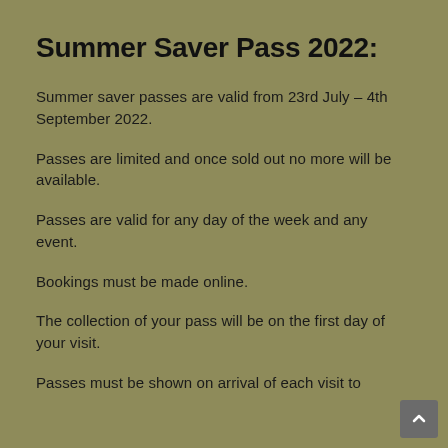Summer Saver Pass 2022:
Summer saver passes are valid from 23rd July – 4th September 2022.
Passes are limited and once sold out no more will be available.
Passes are valid for any day of the week and any event.
Bookings must be made online.
The collection of your pass will be on the first day of your visit.
Passes must be shown on arrival of each visit to